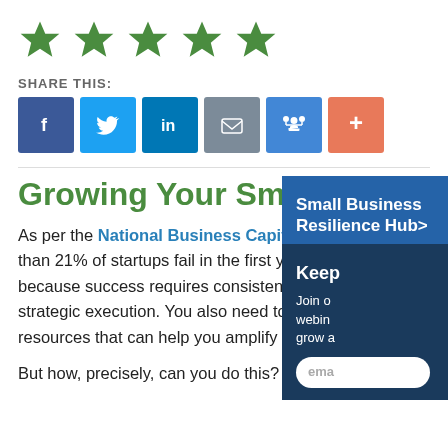[Figure (illustration): Five green five-pointed stars in a row, rating display]
SHARE THIS:
[Figure (infographic): Social share buttons: Facebook, Twitter, LinkedIn, Email, Link, Plus]
Growing Your Small Business
As per the National Business Capital and Services, more than 21% of startups fail in the first year. This is because success requires consistent planning, and strategic execution. You also need to recognize resources that can help you amplify your growth.
But how, precisely, can you do this?
[Figure (infographic): Small Business Resilience Hub sidebar button (blue background) and Keep Up sidebar (dark blue) with email signup input]